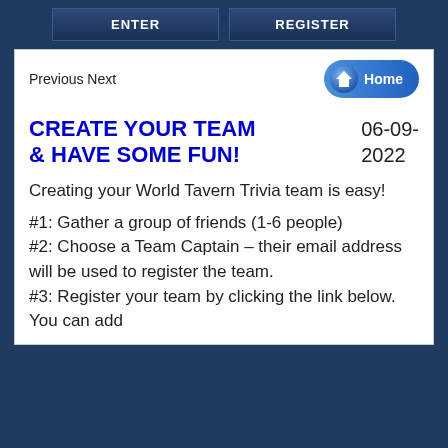ENTER   REGISTER
Previous Next
[Figure (illustration): Home button with house icon, blue pill-shaped button with white text 'Home']
CREATE YOUR TEAM & HAVE SOME FUN!
06-09-2022
Creating your World Tavern Trivia team is easy!
#1: Gather a group of friends (1-6 people)
#2: Choose a Team Captain – their email address will be used to register the team.
#3: Register your team by clicking the link below. You can add